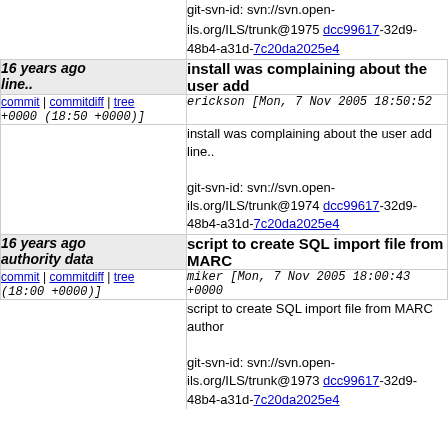git-svn-id: svn://svn.open-ils.org/ILS/trunk@1975 dcc99617-32d9-48b4-a31d-7c20da2025e4
16 years ago | install was complaining about the user add line..
commit | commitdiff | tree   erickson [Mon, 7 Nov 2005 18:50:52 +0000 (18:50 +0000)]
install was complaining about the user add line..
git-svn-id: svn://svn.open-ils.org/ILS/trunk@1974 dcc99617-32d9-48b4-a31d-7c20da2025e4
16 years ago | script to create SQL import file from MARC authority data
commit | commitdiff | tree   miker [Mon, 7 Nov 2005 18:00:43 +0000 (18:00 +0000)]
script to create SQL import file from MARC author
git-svn-id: svn://svn.open-ils.org/ILS/trunk@1973 dcc99617-32d9-48b4-a31d-7c20da2025e4